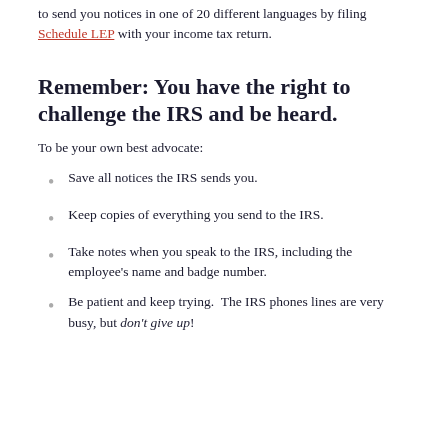to send you notices in one of 20 different languages by filing Schedule LEP with your income tax return.
Remember:  You have the right to challenge the IRS and be heard.
To be your own best advocate:
Save all notices the IRS sends you.
Keep copies of everything you send to the IRS.
Take notes when you speak to the IRS, including the employee's name and badge number.
Be patient and keep trying.  The IRS phones lines are very busy, but don't give up!